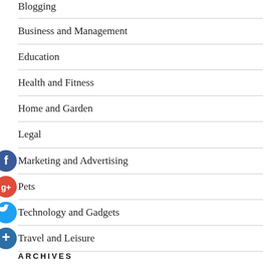Blogging
Business and Management
Education
Health and Fitness
Home and Garden
Legal
Marketing and Advertising
Pets
Technology and Gadgets
Travel and Leisure
ARCHIVES